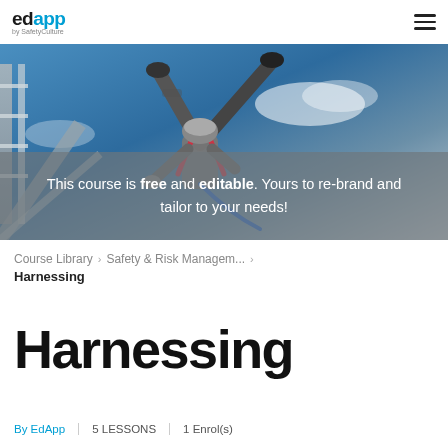edapp by SafetyCulture
[Figure (photo): Worker wearing a safety harness viewed from below against a blue sky, standing on or near a structure. The image has a frosted/blurred overlay at the bottom with white text overlay.]
This course is free and editable. Yours to re-brand and tailor to your needs!
Course Library > Safety & Risk Managem... > Harnessing
Harnessing